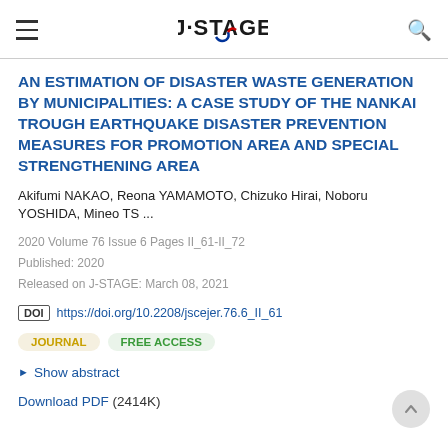J-STAGE
AN ESTIMATION OF DISASTER WASTE GENERATION BY MUNICIPALITIES: A CASE STUDY OF THE NANKAI TROUGH EARTHQUAKE DISASTER PREVENTION MEASURES FOR PROMOTION AREA AND SPECIAL STRENGTHENING AREA
Akifumi NAKAO, Reona YAMAMOTO, Chizuko Hirai, Noboru YOSHIDA, Mineo TS ...
2020 Volume 76 Issue 6 Pages II_61-II_72
Published: 2020
Released on J-STAGE: March 08, 2021
DOI https://doi.org/10.2208/jscejer.76.6_II_61
JOURNAL   FREE ACCESS
▶ Show abstract
Download PDF (2414K)